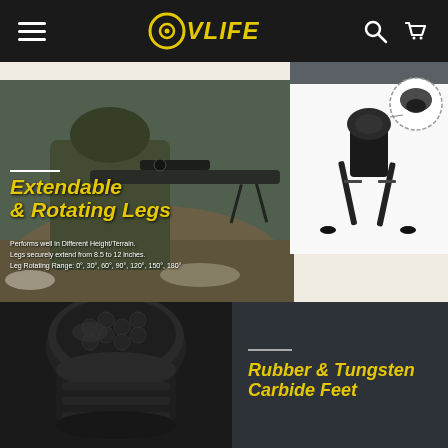CVLIFE - navigation header with hamburger menu, logo, search and cart icons
[Figure (photo): Soldier in tactical gear aiming a rifle with a bipod in rocky outdoor terrain. Overlaid yellow italic text: 'Extendable & Rotating Legs'. White subtext: 'Performs well in Different Height/Terrain. Legs securely extend from 8.5 to 12 inches. Leg Rotating Range: 0°, 30°, 60°, 90°, 120°, 150°, 180°']
[Figure (photo): Product photo of a black rifle bipod on white background with a circular detail callout showing close-up of the bipod head mechanism]
[Figure (photo): Close-up photo of a black cylindrical rubber/tungsten bipod foot piece]
Rubber & Tungsten Carbide Feet